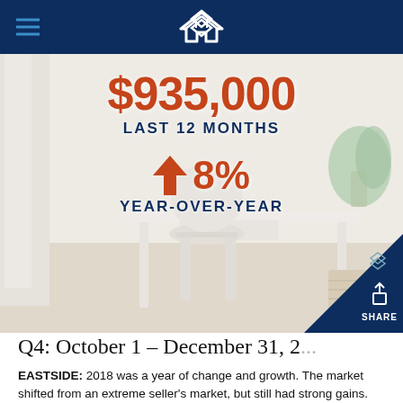Windermere Real Estate header with logo
[Figure (photo): Interior room photo showing white desk, chair, and plant. Overlaid with price statistics: $935,000 LAST 12 MONTHS and up arrow 8% YEAR-OVER-YEAR in orange and dark navy text.]
Q4: October 1 – December 31, 2018
EASTSIDE: 2018 was a year of change and growth. The market shifted from an extreme seller's market, but still had strong gains. Year-over-year, median price is up 8%